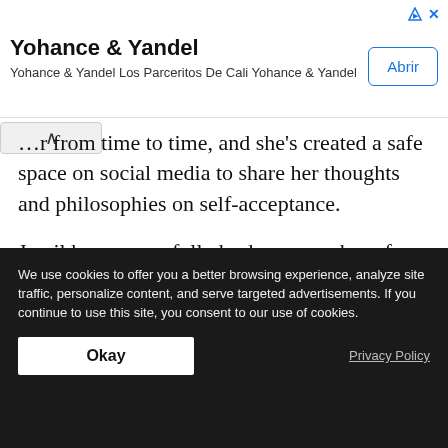[Figure (other): Advertisement banner for 'Yohance & Yandel' with title, subtitle, and 'Abrir' button]
...r from time to time, and she's created a safe space on social media to share her thoughts and philosophies on self-acceptance.
Jamil has successfully broken a number of stereotypes surrounding South Asian women and South Asian people in general. Her character in “The
We use cookies to offer you a better browsing experience, analyze site traffic, personalize content, and serve targeted advertisements. If you continue to use this site, you consent to our use of cookies.
Okay
Privacy Policy